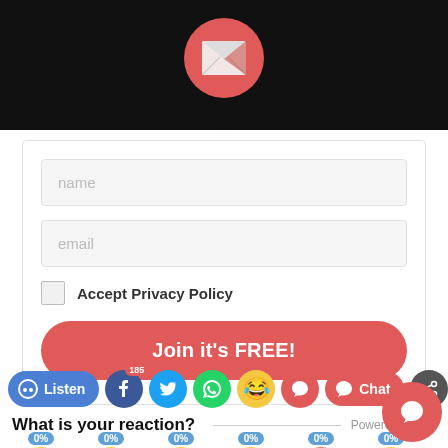[Figure (screenshot): Black banner with pink/red email envelope icon circle at top center, with a downward-pointing black triangle beneath it]
name
email
Accept Privacy Policy
Join it's FREE!
[Figure (screenshot): Social bar with Listen button, Facebook icon with 185 badge, Twitter, WhatsApp, laughing emoji, comment icon, Chat button, share icon]
What is your reaction?
Powered by
[Figure (infographic): Six emoji reaction faces each labeled 0% in blue pill badges]